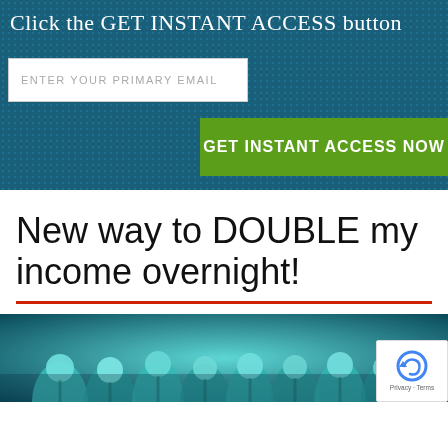Click the GET INSTANT ACCESS button
ENTER YOUR PRIMARY EMAIL
GET INSTANT ACCESS NOW
New way to DOUBLE my income overnight!
[Figure (photo): Group of teal/blue-tinted skeletal human figures crowded together, seen from above and behind, with reCAPTCHA badge overlay in bottom right corner.]